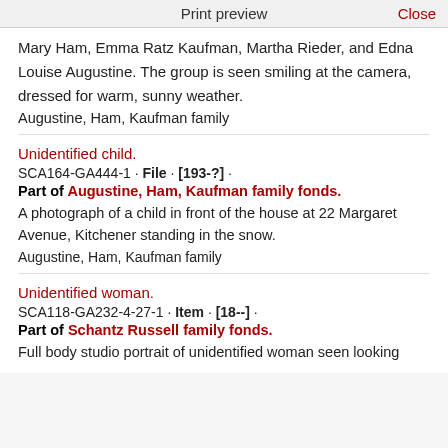Print preview   Close
Mary Ham, Emma Ratz Kaufman, Martha Rieder, and Edna Louise Augustine. The group is seen smiling at the camera, dressed for warm, sunny weather.
Augustine, Ham, Kaufman family
Unidentified child.
SCA164-GA444-1 · File · [193-?] ·
Part of Augustine, Ham, Kaufman family fonds.
A photograph of a child in front of the house at 22 Margaret Avenue, Kitchener standing in the snow.
Augustine, Ham, Kaufman family
Unidentified woman.
SCA118-GA232-4-27-1 · Item · [18--] ·
Part of Schantz Russell family fonds.
Full body studio portrait of unidentified woman seen looking